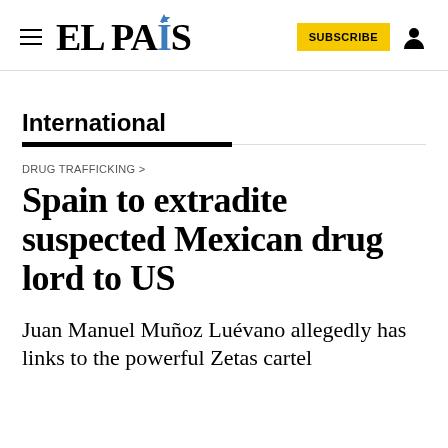EL PAÍS
International
DRUG TRAFFICKING >
Spain to extradite suspected Mexican drug lord to US
Juan Manuel Muñoz Luévano allegedly has links to the powerful Zetas cartel